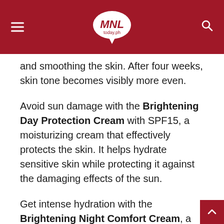MNL today.ph
and smoothing the skin. After four weeks, skin tone becomes visibly more even.
Avoid sun damage with the Brightening Day Protection Cream with SPF15, a moisturizing cream that effectively protects the skin. It helps hydrate sensitive skin while protecting it against the damaging effects of the sun.
Get intense hydration with the Brightening Night Comfort Cream, a cream that helps brighten and even skin tone while you sleep. Every night, it works to correct dark spots, revive complexion clarity and replenish skin's moisture, so that you wake up with radiant skin every morning.
Instantly smooth and hydrate skin with the Brightening